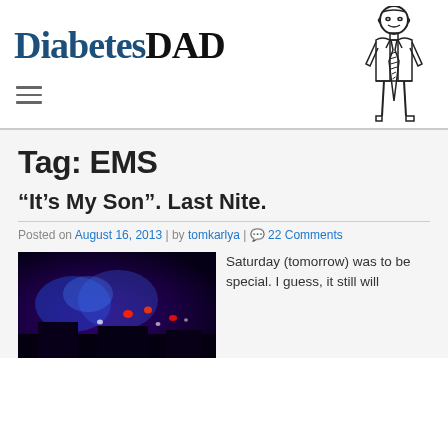[Figure (logo): DiabetesDAD logo with text and cartoon man figure wearing a tie]
Tag: EMS
“It’s My Son”. Last Nite.
Posted on August 16, 2013 | by tomkarlya | 22 Comments
[Figure (photo): Dark blue/purple photo with red and white lights suggesting EMS/emergency vehicles at night]
Saturday (tomorrow) was to be special.  I guess, it still will